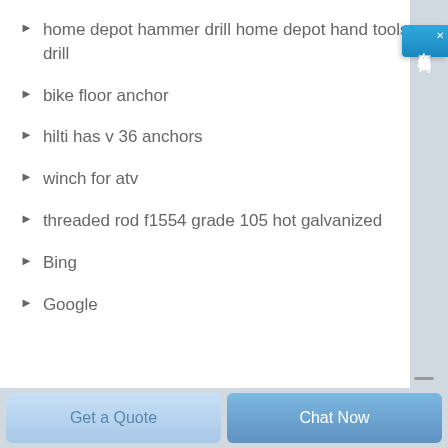home depot hammer drill home depot hand tools drill
bike floor anchor
hilti has v 36 anchors
winch for atv
threaded rod f1554 grade 105 hot galvanized
Bing
Google